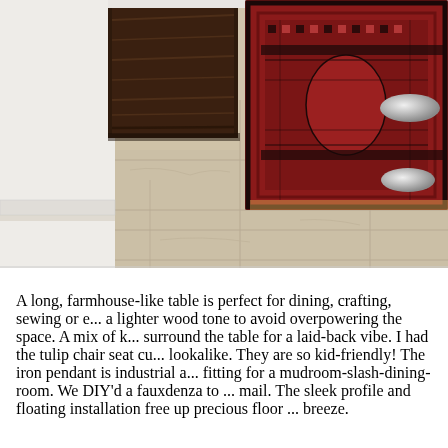[Figure (photo): Interior room photo showing large beige/travertine tile floor with a red patterned Persian/Afghan rug in the upper right, a dark walnut wood panel or cabinet visible in the upper left area, white walls with baseboard, and two silver/chrome bowl-shaped objects on a surface at the right edge.]
A long, farmhouse-like table is perfect for dining, crafting, sewing or e... a lighter wood tone to avoid overpowering the space. A mix of k... surround the table for a laid-back vibe. I had the tulip chair seat cu... lookalike. They are so kid-friendly! The iron pendant is industrial a... fitting for a mudroom-slash-dining-room. We DIY'd a fauxdenza to ... mail. The sleek profile and floating installation free up precious floor ... breeze.